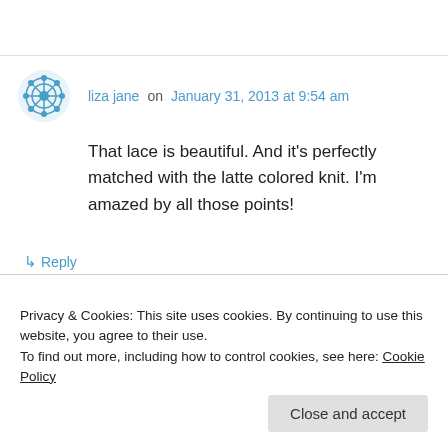liza jane on January 31, 2013 at 9:54 am
That lace is beautiful. And it's perfectly matched with the latte colored knit. I'm amazed by all those points!
↳ Reply
Gabrielle on January 31, 2013 at 11:21 am
Privacy & Cookies: This site uses cookies. By continuing to use this website, you agree to their use. To find out more, including how to control cookies, see here: Cookie Policy
Close and accept